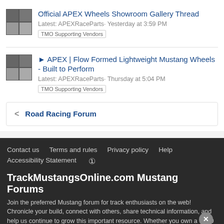Official APEX Wheels Showroom Gallery Thread
Latest: APEXRaceParts· Yesterday at 3:59 PM
TMO Supporting Vendors
▶ APEX | Flow Formed Lightweight Mustang Wheels - Built to Perform
Latest: APEXRaceParts· Thursday at 5:04 PM
TMO Supporting Vendors
< Road Racing Forum
Contact us   Terms and rules   Privacy policy   Help   Accessibility Statement   RSS
TrackMustangsOnline.com Mustang Forums
Join the preferred Mustang forum for track enthusiasts on the web! Chronicle your build, connect with others, share technical information, and help us continue to grow this important resource. Whether you own a S550 or an